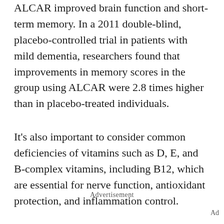ALCAR improved brain function and short-term memory. In a 2011 double-blind, placebo-controlled trial in patients with mild dementia, researchers found that improvements in memory scores in the group using ALCAR were 2.8 times higher than in placebo-treated individuals.
It's also important to consider common deficiencies of vitamins such as D, E, and B-complex vitamins, including B12, which are essential for nerve function, antioxidant protection, and inflammation control.
Advertisement
Ad